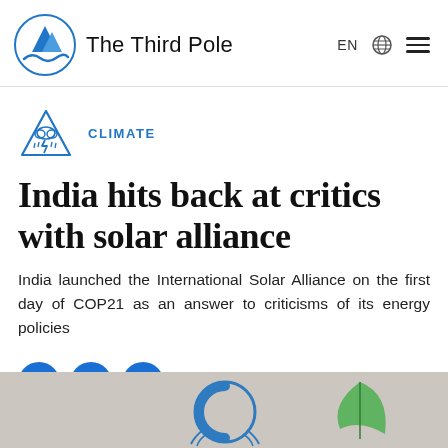The Third Pole  EN  ☰
CLIMATE
India hits back at critics with solar alliance
India launched the International Solar Alliance on the first day of COP21 as an answer to criticisms of its energy policies
[Figure (screenshot): Partial bottom image showing UNFCCC logo (blue leaf/C design) and a green leaf, against a light beige background]
[Figure (logo): The Third Pole logo: circular icon with mountain and wave in blue, next to text 'The Third Pole']